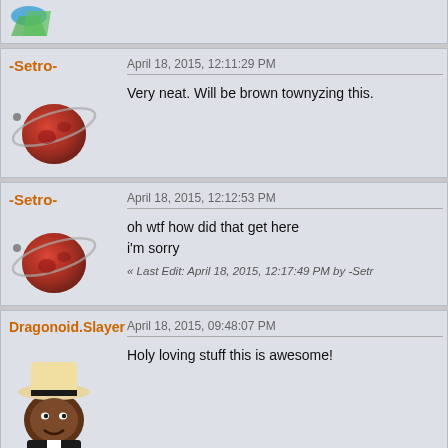-Setro- April 18, 2015, 12:11:29 PM Very neat. Will be brown townyzing this.
-Setro- April 18, 2015, 12:12:53 PM oh wtf how did that get here i'm sorry « Last Edit: April 18, 2015, 12:17:49 PM by -Setro-
Dragonoid.Slayer April 18, 2015, 09:48:07 PM Holy loving stuff this is awesome!
Legodude77 April 18, 2015, 09:51:42 PM I can see it now: